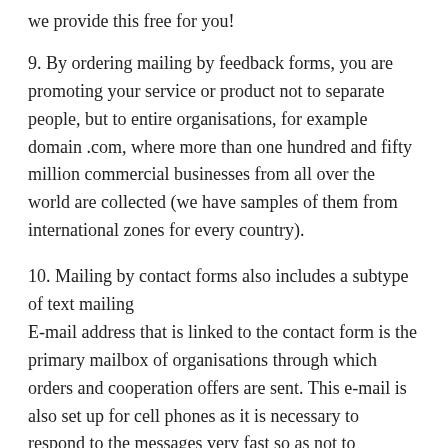we provide this free for you!
9. By ordering mailing by feedback forms, you are promoting your service or product not to separate people, but to entire organisations, for example domain .com, where more than one hundred and fifty million commercial businesses from all over the world are collected (we have samples of them from international zones for every country).
10. Mailing by contact forms also includes a subtype of text mailing
E-mail address that is linked to the contact form is the primary mailbox of organisations through which orders and cooperation offers are sent. This e-mail is also set up for cell phones as it is necessary to respond to the messages very fast so as not to misplace the order or the relevance of the cooperation offer.
11. The database of every country also includes all